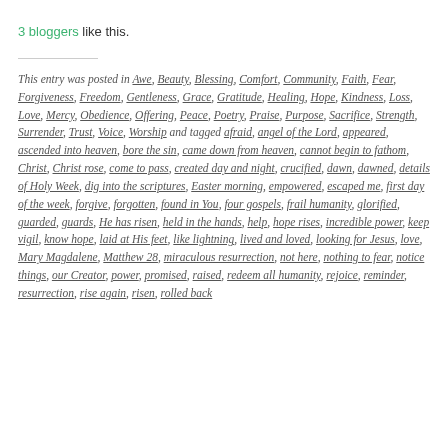3 bloggers like this.
This entry was posted in Awe, Beauty, Blessing, Comfort, Community, Faith, Fear, Forgiveness, Freedom, Gentleness, Grace, Gratitude, Healing, Hope, Kindness, Loss, Love, Mercy, Obedience, Offering, Peace, Poetry, Praise, Purpose, Sacrifice, Strength, Surrender, Trust, Voice, Worship and tagged afraid, angel of the Lord, appeared, ascended into heaven, bore the sin, came down from heaven, cannot begin to fathom, Christ, Christ rose, come to pass, created day and night, crucified, dawn, dawned, details of Holy Week, dig into the scriptures, Easter morning, empowered, escaped me, first day of the week, forgive, forgotten, found in You, four gospels, frail humanity, glorified, guarded, guards, He has risen, held in the hands, help, hope rises, incredible power, keep vigil, know hope, laid at His feet, like lightning, lived and loved, looking for Jesus, love, Mary Magdalene, Matthew 28, miraculous resurrection, not here, nothing to fear, notice things, our Creator, power, promised, raised, redeem all humanity, rejoice, reminder, resurrection, rise again, risen, rolled back